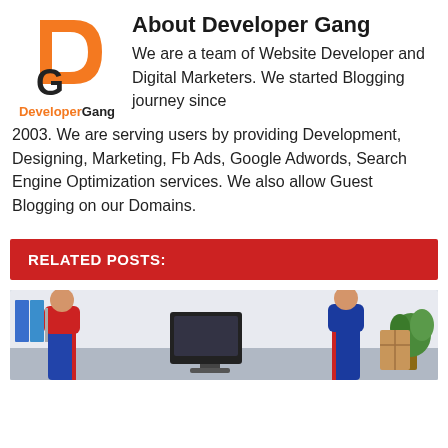[Figure (logo): DeveloperGang logo: orange D shape with dark G letter, text 'DeveloperGang' below in orange and dark]
About Developer Gang
We are a team of Website Developer and Digital Marketers. We started Blogging journey since 2003. We are serving users by providing Development, Designing, Marketing, Fb Ads, Google Adwords, Search Engine Optimization services. We also allow Guest Blogging on our Domains.
RELATED POSTS:
[Figure (photo): Photo of two workers in blue and red uniforms standing in an office environment with a computer monitor, binders, and a plant visible]